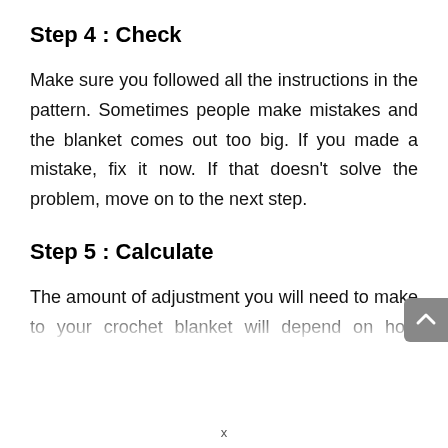Step 4 : Check
Make sure you followed all the instructions in the pattern. Sometimes people make mistakes and the blanket comes out too big. If you made a mistake, fix it now. If that doesn't solve the problem, move on to the next step.
Step 5 : Calculate
The amount of adjustment you will need to make to your crochet blanket will depend on how much bigger it is than it should be. For example, if your